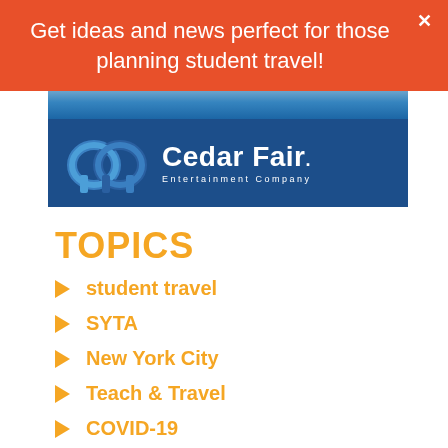Get ideas and news perfect for those planning student travel!
[Figure (logo): Cedar Fair Entertainment Company logo on dark blue background with abstract roller coaster graphic]
TOPICS
student travel
SYTA
New York City
Teach & Travel
COVID-19
Canada
history